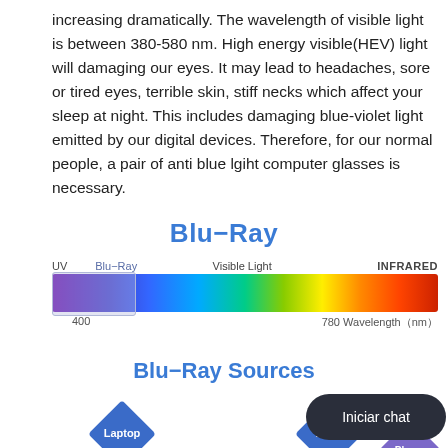increasing dramatically. The wavelength of visible light is between 380-580 nm. High energy visible(HEV) light will damaging our eyes. It may lead to headaches, sore or tired eyes, terrible skin, stiff necks which affect your sleep at night. This includes damaging blue-violet light emitted by our digital devices. Therefore, for our normal people, a pair of anti blue lgiht computer glasses is necessary.
Blu-Ray
[Figure (infographic): Electromagnetic spectrum bar showing UV, Blu-Ray (highlighted, up to 400nm), Visible Light, and INFRARED regions, with wavelength label '780 Wavelength (nm)' at right end.]
Blu-Ray Sources
[Figure (infographic): Blu-Ray Sources infographic showing icons for Laptop, Light, Phone with diamond shapes, and a chat bubble saying 'Iniciar chat'.]